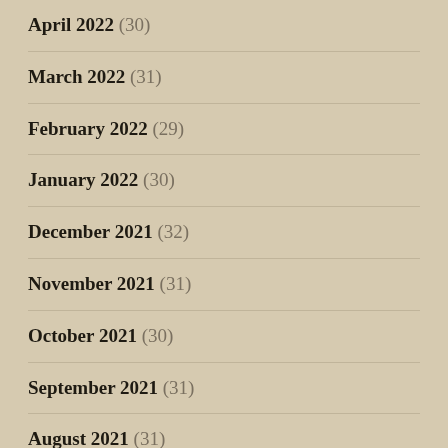April 2022 (30)
March 2022 (31)
February 2022 (29)
January 2022 (30)
December 2021 (32)
November 2021 (31)
October 2021 (30)
September 2021 (31)
August 2021 (31)
July 2021 (30)